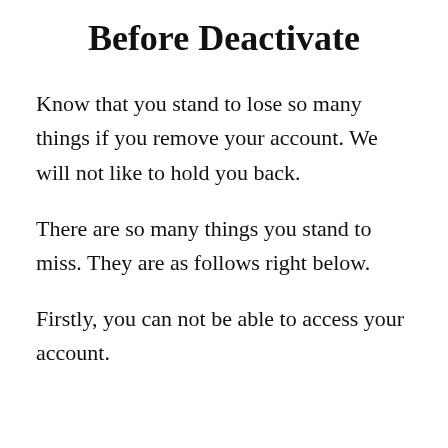Before Deactivate
Know that you stand to lose so many things if you remove your account. We will not like to hold you back.
There are so many things you stand to miss. They are as follows right below.
Firstly, you can not be able to access your account.